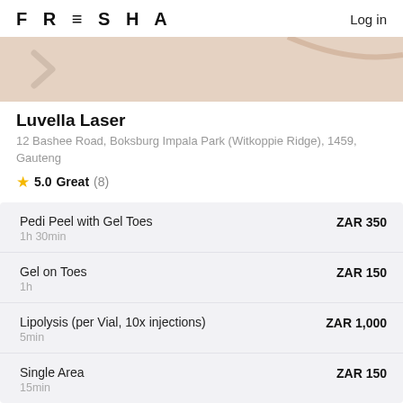FRESHA  Log in
[Figure (map): Partial map view with beige/tan background, arrow icon and curved line element]
Luvella Laser
12 Bashee Road, Boksburg Impala Park (Witkoppie Ridge), 1459, Gauteng
★ 5.0 Great (8)
| Service | Duration | Price |
| --- | --- | --- |
| Pedi Peel with Gel Toes | 1h 30min | ZAR 350 |
| Gel on Toes | 1h | ZAR 150 |
| Lipolysis (per Vial, 10x injections) | 5min | ZAR 1,000 |
| Single Area | 15min | ZAR 150 |